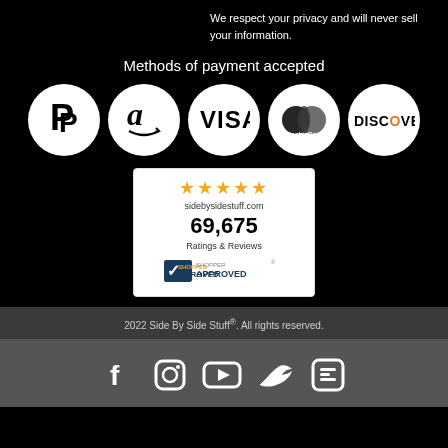We respect your privacy and will never sell your information.
Methods of payment accepted
[Figure (logo): Five payment method logos in white circles: PayPal, Amazon, Visa, MasterCard, Discover]
[Figure (infographic): Shopper Approved badge: 5 orange stars, sidebysidestuff.com, 69,675 Ratings & Reviews, Shopper Approved logo]
2022 Side By Side Stuff®. All rights reserved.
[Figure (infographic): Social media icons row: Facebook, Instagram, YouTube, Twitter, Blogger]